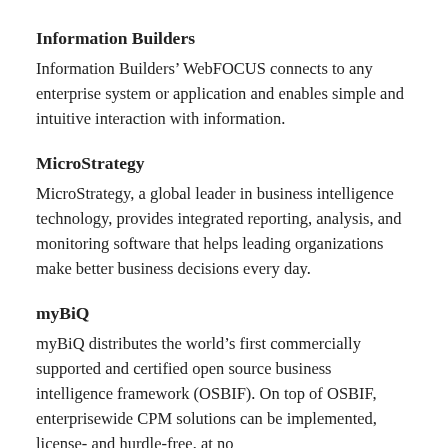Information Builders
Information Builders’ WebFOCUS connects to any enterprise system or application and enables simple and intuitive interaction with information.
MicroStrategy
MicroStrategy, a global leader in business intelligence technology, provides integrated reporting, analysis, and monitoring software that helps leading organizations make better business decisions every day.
myBiQ
myBiQ distributes the world’s first commercially supported and certified open source business intelligence framework (OSBIF). On top of OSBIF, enterprisewide CPM solutions can be implemented, license- and hurdle-free, at no